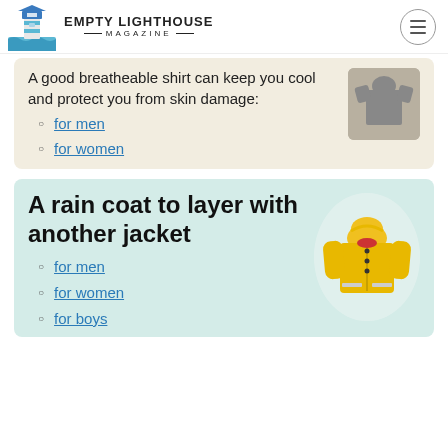EMPTY LIGHTHOUSE MAGAZINE
A good breatheable shirt can keep you cool and protect you from skin damage:
for men
for women
A rain coat to layer with another jacket
for men
for women
for boys